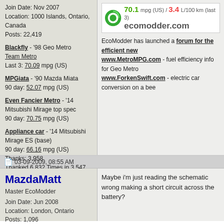Join Date: Nov 2007
Location: 1000 Islands, Ontario, Canada
Posts: 22,419
Blackfly - '98 Geo Metro
Team Metro
Last 3: 70.09 mpg (US)
MPGiata - '90 Mazda Miata
90 day: 52.07 mpg (US)
Even Fancier Metro - '14 Mitsubishi Mirage top spec
90 day: 70.75 mpg (US)
Appliance car - '14 Mitsubishi Mirage ES (base)
90 day: 66.16 mpg (US)
Thanks: 3,958
Thanked 6,832 Times in 3,547 Posts
[Figure (logo): EcoModder.com logo with 70.1 mpg (US) / 3.4 L/100 km (last 3) stats]
EcoModder has launched a forum for the efficient new www.MetroMPG.com - fuel efficiency info for Geo Metro www.ForkenSwift.com - electric car conversion on a bee
03-09-2009, 08:55 AM
MazdaMatt
Master EcoModder
Join Date: Jun 2008
Location: London, Ontario
Posts: 1,096
Maybe i'm just reading the schematic wrong making a short circuit across the battery?